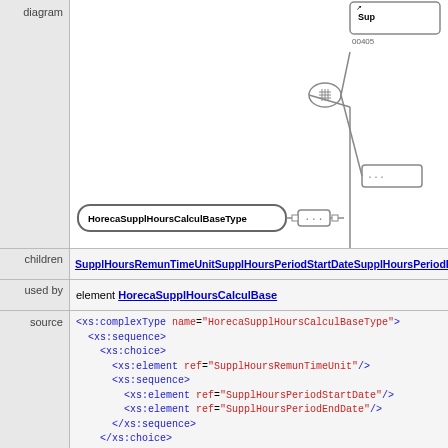[Figure (engineering-diagram): XML schema diagram showing HorecaSupplHoursCalculBaseType connected via sequence to SupplHoursRemunTimeUnit (00405) and SupplHoursRemu... (00406) elements]
children: SupplHoursRemunTimeUnitSupplHoursPeriodStartDateSupplHoursPeriodEndDate
used by: element HorecaSupplHoursCalculBase
<xs:complexType name="HorecaSupplHoursCalculBaseType">
  <xs:sequence>
    <xs:choice>
      <xs:element ref="SupplHoursRemunTimeUnit"/>
      <xs:sequence>
        <xs:element ref="SupplHoursPeriodStartDate"/>
        <xs:element ref="SupplHoursPeriodEndDate"/>
      </xs:sequence>
    </xs:choice>
    <xs:element ref="SupplHoursRemunAmount"/>
  </xs:sequence>